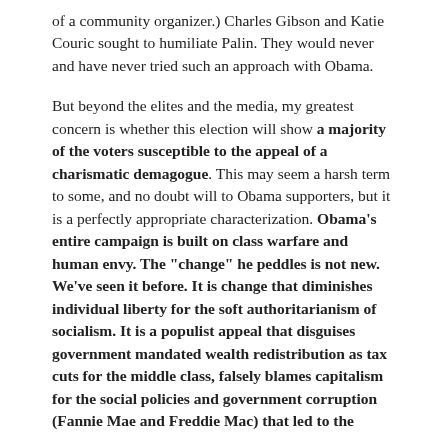of a community organizer.) Charles Gibson and Katie Couric sought to humiliate Palin. They would never and have never tried such an approach with Obama.
But beyond the elites and the media, my greatest concern is whether this election will show a majority of the voters susceptible to the appeal of a charismatic demagogue. This may seem a harsh term to some, and no doubt will to Obama supporters, but it is a perfectly appropriate characterization. Obama's entire campaign is built on class warfare and human envy. The "change" he peddles is not new. We've seen it before. It is change that diminishes individual liberty for the soft authoritarianism of socialism. It is a populist appeal that disguises government mandated wealth redistribution as tax cuts for the middle class, falsely blames capitalism for the social policies and government corruption (Fannie Mae and Freddie Mac) that led to the